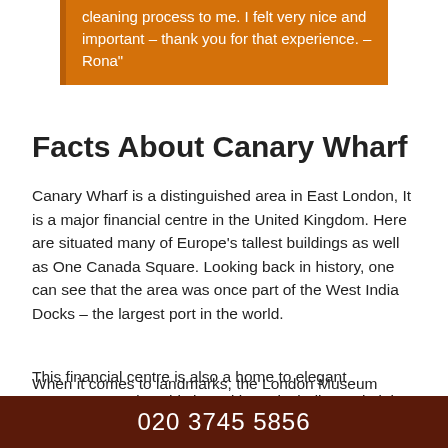cleaning process to me. I felt very nice and important – thank you for that experience. – Rona"
Facts About Canary Wharf
Canary Wharf is a distinguished area in East London, It is a major financial centre in the United Kingdom. Here are situated many of Europe's tallest buildings as well as One Canada Square. Looking back in history, one can see that the area was once part of the West India Docks – the largest port in the world.
This financial centre is also a home to elegant restaurants and sophisticated bars, including Boisdale, Roka and Plateau. There are also numerous leisure possibilities ranging from walks around the river to
020 3745 5856
When it comes to landmarks, the London Museum